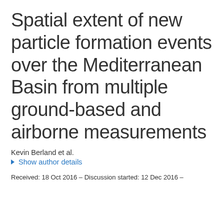Spatial extent of new particle formation events over the Mediterranean Basin from multiple ground-based and airborne measurements
Kevin Berland et al.
▶ Show author details
Received: 18 Oct 2016 – Discussion started: 12 Dec 2016 –